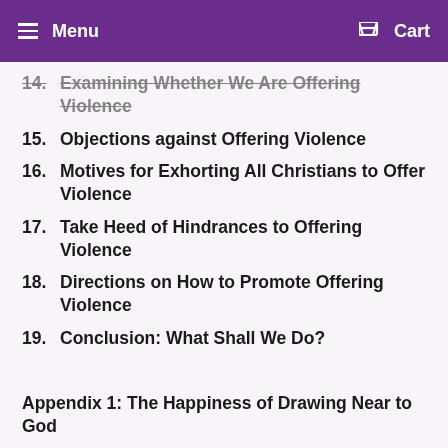Menu  Cart
14. Examining Whether We Are Offering Violence
15. Objections against Offering Violence
16. Motives for Exhorting All Christians to Offer Violence
17. Take Heed of Hindrances to Offering Violence
18. Directions on How to Promote Offering Violence
19. Conclusion: What Shall We Do?
Appendix 1: The Happiness of Drawing Near to God
Appendix 2: How We May Read the Scriptures with Most Spiritual Profit
Author